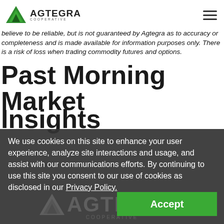[Figure (logo): Agtegra Cooperative logo with green triangle/mountain icon and company name]
believe to be reliable, but is not guaranteed by Agtegra as to accuracy or completeness and is made available for information purposes only. There is a risk of loss when trading commodity futures and options.
Past Morning Market Insights
We use cookies on this site to enhance your user experience, analyze site interactions and usage, and assist with our communications efforts. By continuing to use this site you consent to our use of cookies as disclosed in our Privacy Policy.